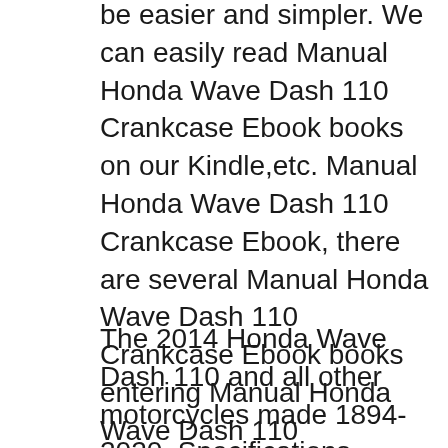be easier and simpler. We can easily read Manual Honda Wave Dash 110 Crankcase Ebook books on our Kindle,etc. Manual Honda Wave Dash 110 Crankcase Ebook, there are several Manual Honda Wave Dash 110 Crankcase Ebook books entering Manual Honda Wave Dash 110 Crankcase Ebook PDF format. Several websites for downloading free Manual Honda Wave
The 2014 Honda Wave Dash 110 and all other motorcycles made 1894-2020. Specifications. Pictures. Rating. Discussions. 11/02/2017B B· SPEC - footrest racing boy -disc plate racing boy -pipe CJ Ipoh -racing sprocket set